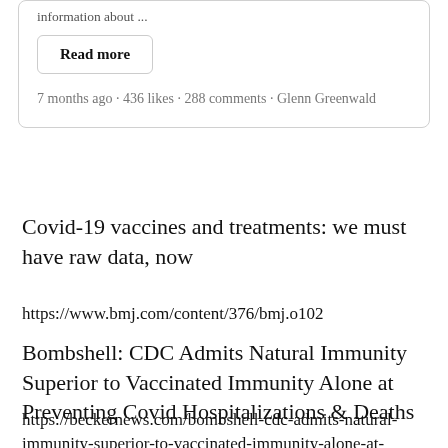information about ...
Read more
7 months ago · 436 likes · 288 comments · Glenn Greenwald
Covid-19 vaccines and treatments: we must have raw data, now
https://www.bmj.com/content/376/bmj.o102
Bombshell: CDC Admits Natural Immunity Superior to Vaccinated Immunity Alone at Preventing Covid Hospitalizations & Deaths
https://beckernews.com/bombshell-cdc-admits-natural-immunity-superior-to-vaccinated-immunity-alone-at-